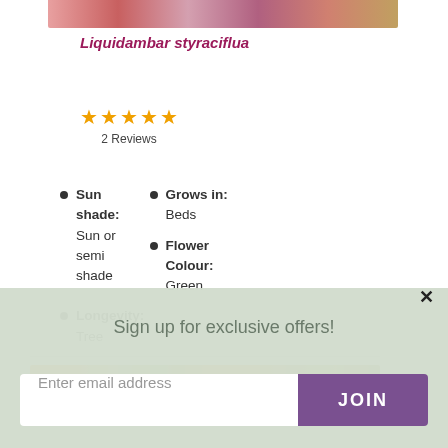[Figure (photo): Close-up photo of colorful autumn leaves, pink and orange tones, partially visible at top.]
Liquidambar styraciflua
[Figure (other): Five gold/orange stars rating display with '2 Reviews' label below.]
Sun shade: Sun or semi shade
Grows in: Beds
Flower Colour: Green
Longevity: Tree
[Figure (photo): Colorful orange and green flower/plant image at bottom of page.]
Sign up for exclusive offers!
Enter email address
JOIN